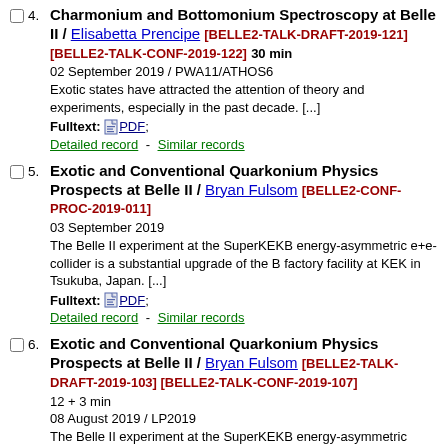4. Charmonium and Bottomonium Spectroscopy at Belle II / Elisabetta Prencipe [BELLE2-TALK-DRAFT-2019-121] [BELLE2-TALK-CONF-2019-122] 30 min
02 September 2019 / PWA11/ATHOS6
Exotic states have attracted the attention of theory and experiments, especially in the past decade. [...]
Fulltext: PDF;
Detailed record - Similar records
5. Exotic and Conventional Quarkonium Physics Prospects at Belle II / Bryan Fulsom [BELLE2-CONF-PROC-2019-011]
03 September 2019
The Belle II experiment at the SuperKEKB energy-asymmetric e+e- collider is a substantial upgrade of the B factory facility at KEK in Tsukuba, Japan. [...]
Fulltext: PDF;
Detailed record - Similar records
6. Exotic and Conventional Quarkonium Physics Prospects at Belle II / Bryan Fulsom [BELLE2-TALK-DRAFT-2019-103] [BELLE2-TALK-CONF-2019-107]
12 + 3 min
08 August 2019 / LP2019
The Belle II experiment at the SuperKEKB energy-asymmetric $e^+ e^-$ collider is a substantial upgrade of the B factory facility at KEK in Tsukuba, Japan. [...]
Fulltext: PDF;
Detailed record - Similar records